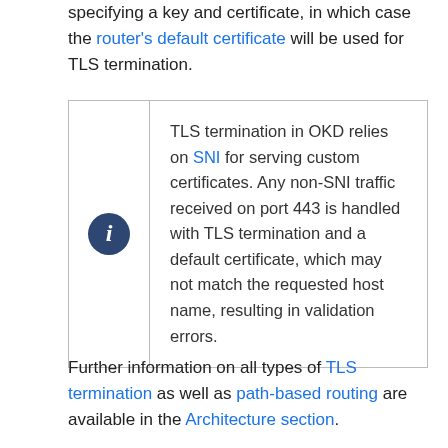specifying a key and certificate, in which case the router's default certificate will be used for TLS termination.
TLS termination in OKD relies on SNI for serving custom certificates. Any non-SNI traffic received on port 443 is handled with TLS termination and a default certificate, which may not match the requested host name, resulting in validation errors.
Further information on all types of TLS termination as well as path-based routing are available in the Architecture section.